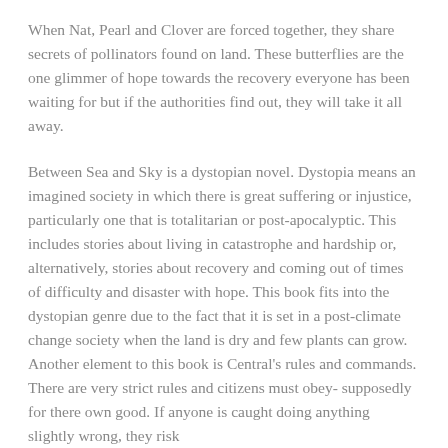When Nat, Pearl and Clover are forced together, they share secrets of pollinators found on land. These butterflies are the one glimmer of hope towards the recovery everyone has been waiting for but if the authorities find out, they will take it all away.
Between Sea and Sky is a dystopian novel. Dystopia means an imagined society in which there is great suffering or injustice, particularly one that is totalitarian or post-apocalyptic. This includes stories about living in catastrophe and hardship or, alternatively, stories about recovery and coming out of times of difficulty and disaster with hope. This book fits into the dystopian genre due to the fact that it is set in a post-climate change society when the land is dry and few plants can grow. Another element to this book is Central's rules and commands. There are very strict rules and citizens must obey- supposedly for there own good. If anyone is caught doing anything slightly wrong, they risk